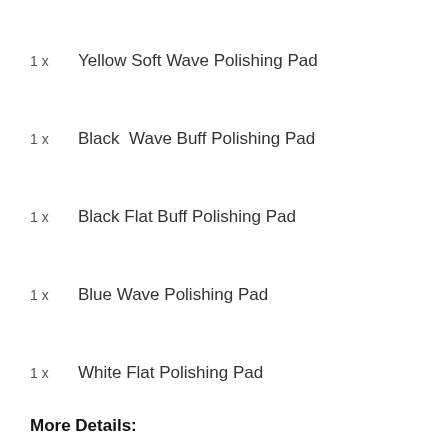1 x  Yellow Soft Wave Polishing Pad
1 x  Black  Wave Buff Polishing Pad
1 x  Black Flat Buff Polishing Pad
1 x  Blue Wave Polishing Pad
1 x  White Flat Polishing Pad
More Details: